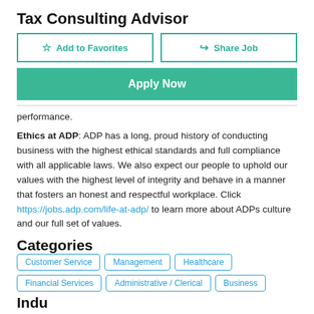Tax Consulting Advisor
Add to Favorites | Share Job | Apply Now (buttons)
performance.
Ethics at ADP: ADP has a long, proud history of conducting business with the highest ethical standards and full compliance with all applicable laws. We also expect our people to uphold our values with the highest level of integrity and behave in a manner that fosters an honest and respectful workplace. Click https://jobs.adp.com/life-at-adp/ to learn more about ADPs culture and our full set of values.
Categories
Customer Service
Management
Healthcare
Financial Services
Administrative / Clerical
Business
Industry